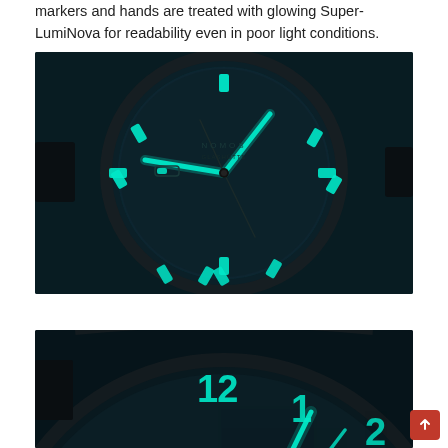markers and hands are treated with glowing Super-LumiNova for readability even in poor light conditions.
[Figure (photo): Close-up photograph of a NOMOS watch face in darkness, showing glowing teal/cyan Super-LumiNova lume on hour markers and hands against a dark blue-green dial. The hands glow brightly in cyan-green, with small rectangular lume markers at each hour position.]
[Figure (photo): Partial close-up photograph of a NOMOS watch face in darkness showing the upper portion of the dial with glowing cyan numerals 12, 1, 2 and a glowing hand, against a very dark background.]